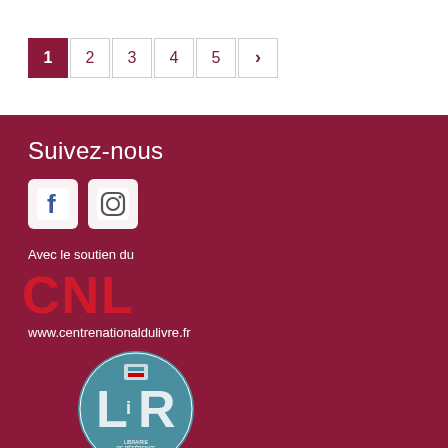1 2 3 4 5 >
Suivez-nous
[Figure (illustration): Facebook and Instagram social media icons (white on maroon background boxes)]
Avec le soutien du
[Figure (logo): CNL - Centre National du Livre logo in red letters]
www.centrenationaldulivre.fr
[Figure (logo): LiR - Librairie de référence circular badge logo in teal/blue]